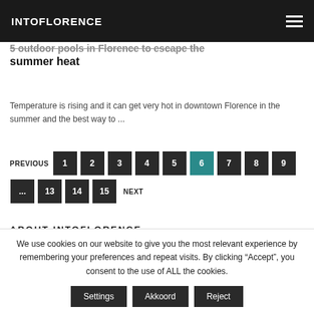INTOFLORENCE
5 outdoor pools in Florence to escape the summer heat
Temperature is rising and it can get very hot in downtown Florence in the summer and the best way to ...
PREVIOUS 1 2 3 4 5 6 7 8 9 ... 13 14 15 NEXT
ABOUT INTOFLORENCE
We use cookies on our website to give you the most relevant experience by remembering your preferences and repeat visits. By clicking “Accept”, you consent to the use of ALL the cookies.